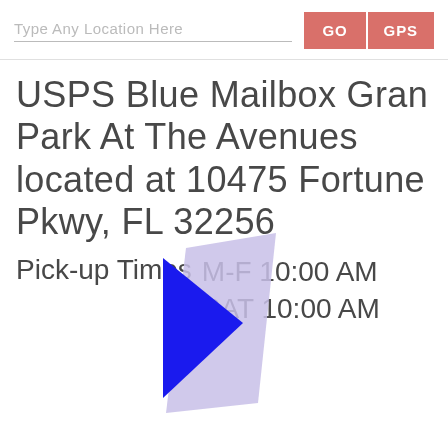Type Any Location Here | GO | GPS
USPS Blue Mailbox Gran Park At The Avenues located at 10475 Fortune Pkwy, FL 32256
Pick-up Times   M-F 10:00 AM   SAT 10:00 AM
[Figure (illustration): Blue arrow/map pin icon overlay on the text, a blue solid triangular arrow with a light purple/lavender quadrilateral background shape, positioned over the address and pickup times text.]